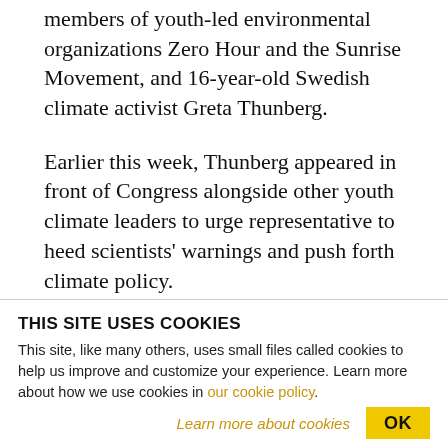members of youth-led environmental organizations Zero Hour and the Sunrise Movement, and 16-year-old Swedish climate activist Greta Thunberg.
Earlier this week, Thunberg appeared in front of Congress alongside other youth climate leaders to urge representative to heed scientists' warnings and push forth climate policy.
“This is not the time and place for dreams, this is the
THIS SITE USES COOKIES
This site, like many others, uses small files called cookies to help us improve and customize your experience. Learn more about how we use cookies in our cookie policy.
Learn more about cookies
OK